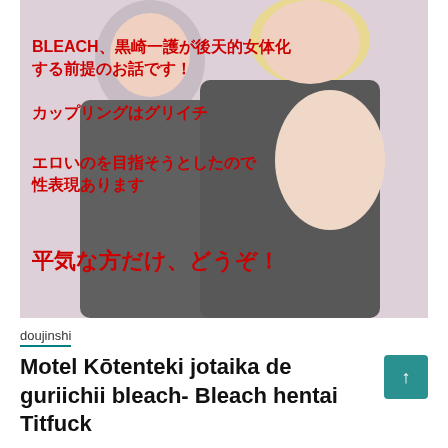[Figure (illustration): Manga/doujinshi cover illustration showing anime characters with Japanese red text overlay: 'BLEACH、黒崎一護が後天的女体化する前提のお話です！', 'カップリングはグリイチ', 'エロいのを目指そうとしたので性表現あります', '平気な方だけ、どうぞ！']
doujinshi
Motel Kōtenteki jotaika de guriichii bleach- Bleach hentai Titfuck